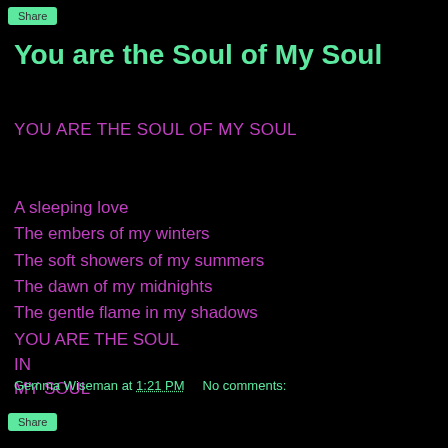Share
You are the Soul of My Soul
YOU ARE THE SOUL OF MY SOUL
A sleeping love
The embers of my winters
The soft showers of my summers
The dawn of my midnights
The gentle flame in my shadows
YOU ARE THE SOUL
IN
MY SOUL
Gemma Wiseman at 1:21 PM    No comments:
Share